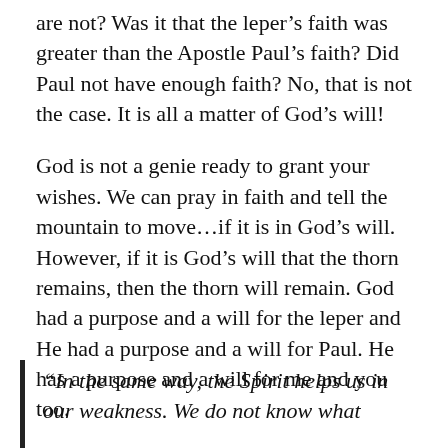are not?  Was it that the leper's faith was greater than the Apostle Paul's faith?  Did Paul not have enough faith?  No, that is not the case.  It is all a matter of God's will!
God is not a genie ready to grant your wishes.  We can pray in faith and tell the mountain to move...if it is in God's will.  However, if it is God's will that the thorn remains, then the thorn will remain.  God had a purpose and a will for the leper and He had a purpose and a will for Paul.  He has a purpose and a will for me and you too.
“In the same way, the Spirit helps us in our weakness.  We do not know what